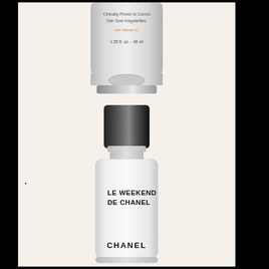[Figure (photo): Partial view of a cosmetic tube/bottle top showing text: Clinically Proven to Correct Skin Tone Irregularities. with Vitamin C. 1.35 fl. oz. - 40 ml. Transparent/grey frosted bottle.]
•
[Figure (photo): Chanel Le Weekend De Chanel skincare product bottle. White bottle with black cap. Text on bottle: LE WEEKEND DE CHANEL and CHANEL at bottom.]